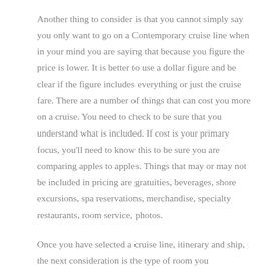Another thing to consider is that you cannot simply say you only want to go on a Contemporary cruise line when in your mind you are saying that because you figure the price is lower. It is better to use a dollar figure and be clear if the figure includes everything or just the cruise fare. There are a number of things that can cost you more on a cruise. You need to check to be sure that you understand what is included. If cost is your primary focus, you'll need to know this to be sure you are comparing apples to apples. Things that may or may not be included in pricing are gratuities, beverages, shore excursions, spa reservations, merchandise, specialty restaurants, room service, photos.
Once you have selected a cruise line, itinerary and ship, the next consideration is the type of room you